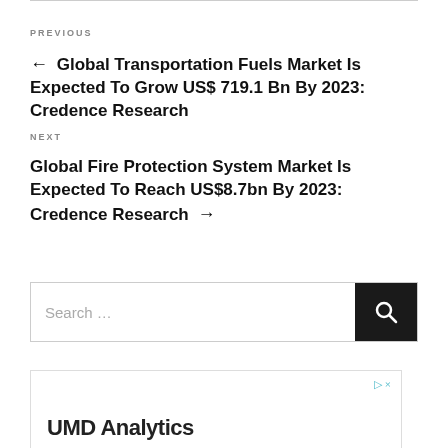PREVIOUS
← Global Transportation Fuels Market Is Expected To Grow US$ 719.1 Bn By 2023: Credence Research
NEXT
Global Fire Protection System Market Is Expected To Reach US$8.7bn By 2023: Credence Research →
Search …
[Figure (other): Advertisement box with UMD Analytics text and play/close icons]